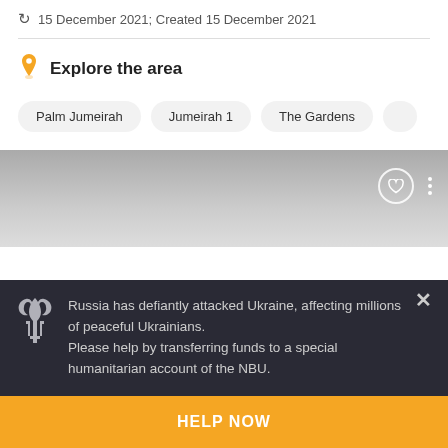15 December 2021; Created 15 December 2021
Explore the area
Palm Jumeirah
Jumeirah 1
The Gardens
[Figure (screenshot): Listing card with gradient grey background, heart icon and three-dot menu]
Russia has defiantly attacked Ukraine, affecting millions of peaceful Ukrainians.
Please help by transferring funds to a special humanitarian account of the NBU.
HELP NOW